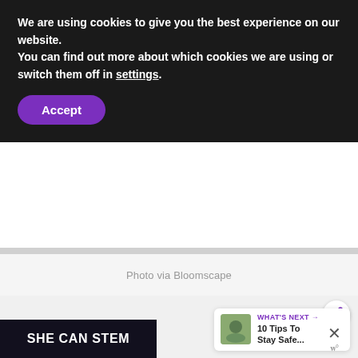We are using cookies to give you the best experience on our website.
You can find out more about which cookies we are using or switch them off in settings.
Accept
Photo via Bloomscape
[Figure (other): Gray placeholder image area]
WHAT'S NEXT → 10 Tips To Stay Safe...
SHE CAN STEM